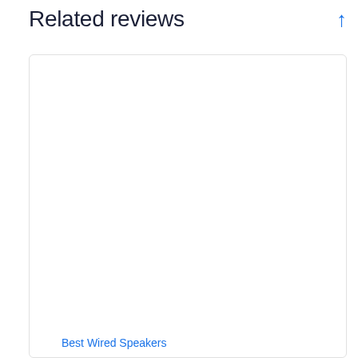Related reviews
[Figure (screenshot): A large white card/panel with a rounded border, mostly empty/loading, with a blue link at the bottom reading 'Best Wired Speakers']
Best Wired Speakers